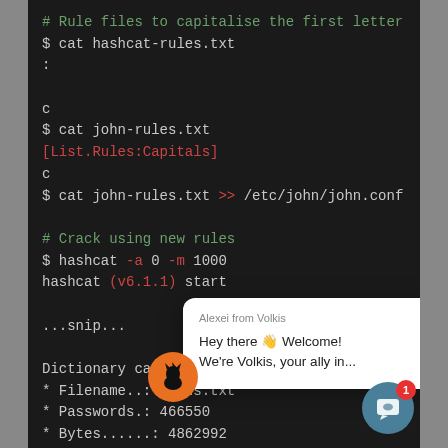[Figure (screenshot): Terminal screenshot showing hashcat/john rule files and cracking commands on dark background, with a chat popup overlay from 'Alexei from Volkis' saying 'Hey there Welcome! We're Volkis, your ally in...', an orange Goku icon, and a teal chat button with badge '1'.]